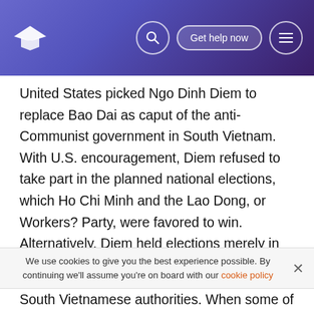Get help now
United States picked Ngo Dinh Diem to replace Bao Dai as caput of the anti-Communist government in South Vietnam. With U.S. encouragement, Diem refused to take part in the planned national elections, which Ho Chi Minh and the Lao Dong, or Workers? Party, were favored to win. Alternatively, Diem held elections merely in South Vietnam, an action that violated the Geneva Accords. This led to the start of the war.
The United States became involved in Vietnam because it believed that if all of the state fell under a Communist authorities, Communism would distribute throughout Southeast Asia and beyond. This belief was known as the?
South Vietnamese authorities. When some of the soldiers of
We use cookies to give you the best experience possible. By continuing we'll assume you're on board with our cookie policy